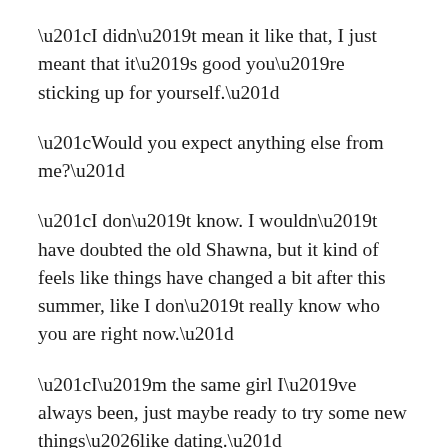“I didn’t mean it like that, I just meant that it’s good you’re sticking up for yourself.”
“Would you expect anything else from me?”
“I don’t know. I wouldn’t have doubted the old Shawna, but it kind of feels like things have changed a bit after this summer, like I don’t really know who you are right now.”
“I’m the same girl I’ve always been, just maybe ready to try some new things…like dating.”
“And how’d that turn out for you?” I asked, finally turning to look at her. That’s when I really heard her words.